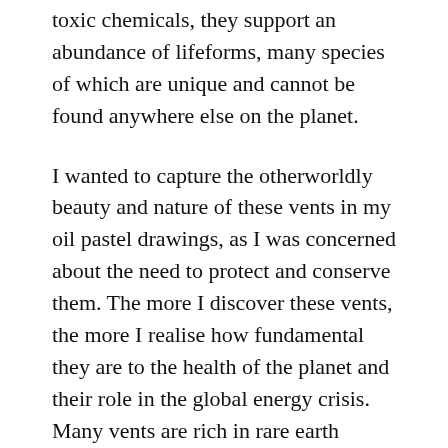toxic chemicals, they support an abundance of lifeforms, many species of which are unique and cannot be found anywhere else on the planet.
I wanted to capture the otherworldly beauty and nature of these vents in my oil pastel drawings, as I was concerned about the need to protect and conserve them. The more I discover these vents, the more I realise how fundamental they are to the health of the planet and their role in the global energy crisis. Many vents are rich in rare earth metals like cobalt, gold, and copper, necessary ingredients for electronic components. Ed Conway, Economics and Data Editor at Sky News, has